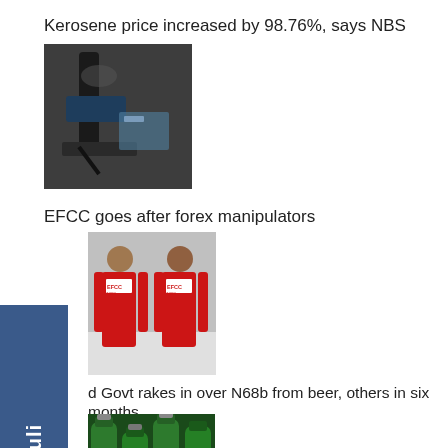Kerosene price increased by 98.76%, says NBS
[Figure (photo): Close-up of a fuel pump/kerosene dispenser nozzle]
EFCC goes after forex manipulators
[Figure (photo): Two EFCC officers standing with red jackets showing EFCC logo]
d Govt rakes in over N68b from beer, others in six months
[Figure (photo): Green beer bottles clustered together]
Kebbi customs intercept 478 petrol kegs
[Figure (photo): Petrol kegs intercepted by customs officers]